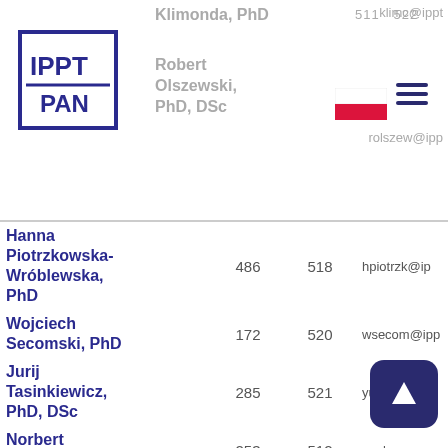[Figure (logo): IPPT PAN logo — square with IPPT letters and PAN below]
| Name | Ext. | Room | Email |
| --- | --- | --- | --- |
| Klimonda, PhD | 511 | 522 | klimc@ippt... |
| Robert Olszewski, PhD, DSc |  |  | rolszew@ipp... |
| Hanna Piotrzkowska-Wróblewska, PhD | 486 | 518 | hpiotrzk@ip... |
| Wojciech Secomski, PhD | 172 | 520 | wsecom@ipp... |
| Jurij Tasinkiewicz, PhD, DSc | 285 | 521 | yurijtas@ipp... |
| Norbert Żołek, PhD | 253 | 512 | nzol... |
| Ph.D. Students |  |  |  |
| Ilona Korczak, | 251 | 222 | jkorczak@ip... |